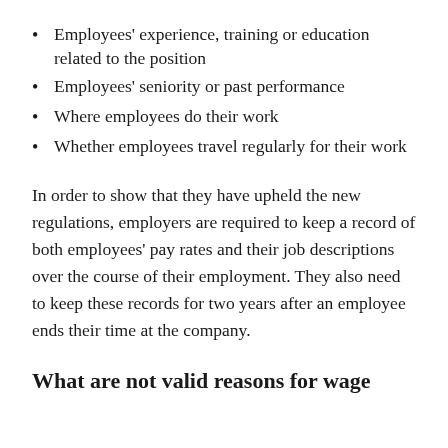Employees' experience, training or education related to the position
Employees' seniority or past performance
Where employees do their work
Whether employees travel regularly for their work
In order to show that they have upheld the new regulations, employers are required to keep a record of both employees' pay rates and their job descriptions over the course of their employment. They also need to keep these records for two years after an employee ends their time at the company.
What are not valid reasons for wage